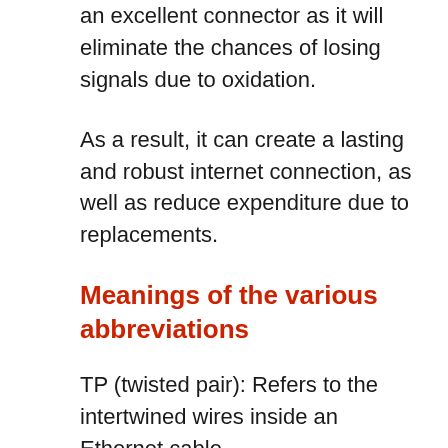an excellent connector as it will eliminate the chances of losing signals due to oxidation.
As a result, it can create a lasting and robust internet connection, as well as reduce expenditure due to replacements.
Meanings of the various abbreviations
TP (twisted pair): Refers to the intertwined wires inside an Ethernet cable